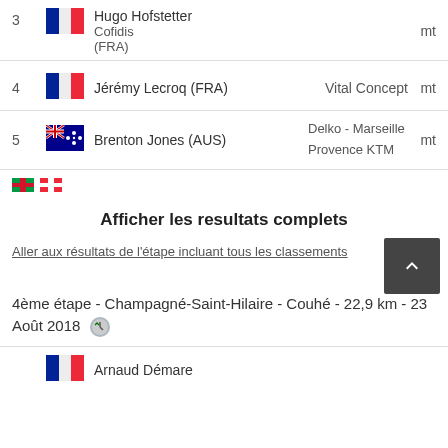3  Hugo Hofstetter (FRA)  Cofidis  mt
4  Jérémy Lecroq (FRA)  Vital Concept  mt
5  Brenton Jones (AUS)  Delko - Marseille Provence KTM  mt
Afficher les resultats complets
Aller aux résultats de l'étape incluant tous les classements
4ème étape - Champagné-Saint-Hilaire - Couhé - 22,9 km - 23 Août 2018
Arnaud Démare